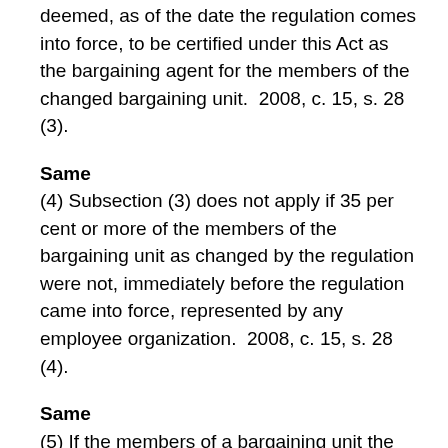deemed, as of the date the regulation comes into force, to be certified under this Act as the bargaining agent for the members of the changed bargaining unit.  2008, c. 15, s. 28 (3).
Same
(4) Subsection (3) does not apply if 35 per cent or more of the members of the bargaining unit as changed by the regulation were not, immediately before the regulation came into force, represented by any employee organization.  2008, c. 15, s. 28 (4).
Same
(5) If the members of a bargaining unit the description of which is changed by a regulation